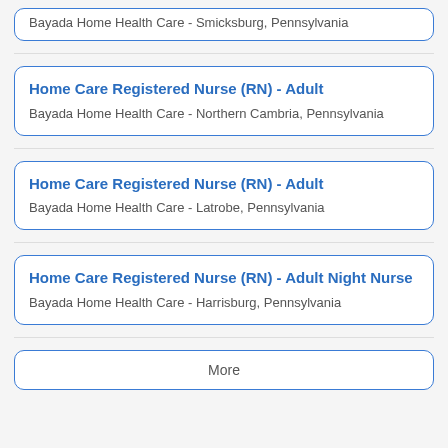Bayada Home Health Care - Smicksburg, Pennsylvania
Home Care Registered Nurse (RN) - Adult
Bayada Home Health Care - Northern Cambria, Pennsylvania
Home Care Registered Nurse (RN) - Adult
Bayada Home Health Care - Latrobe, Pennsylvania
Home Care Registered Nurse (RN) - Adult Night Nurse
Bayada Home Health Care - Harrisburg, Pennsylvania
More